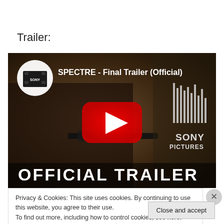Trailer:
[Figure (screenshot): YouTube video thumbnail for SPECTRE - Final Trailer (Official) by Sony Pictures. Shows a man aiming a rifle in a dark setting with the text OFFICIAL TRAILER at the bottom. A red YouTube play button is visible in the center.]
Privacy & Cookies: This site uses cookies. By continuing to use this website, you agree to their use.
To find out more, including how to control cookies, see here: Cookie Policy